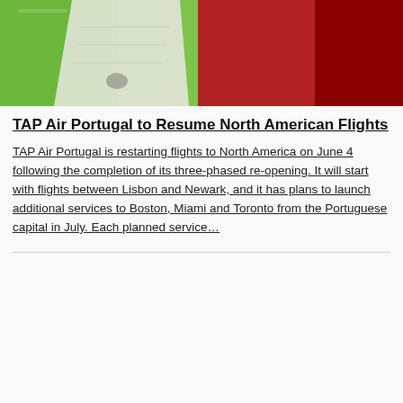[Figure (photo): Close-up photo of green and red colored passport covers or travel documents with a white card or paper tucked inside, suggesting airline/travel imagery.]
TAP Air Portugal to Resume North American Flights
TAP Air Portugal is restarting flights to North America on June 4 following the completion of its three-phased re-opening. It will start with flights between Lisbon and Newark, and it has plans to launch additional services to Boston, Miami and Toronto from the Portuguese capital in July. Each planned service…